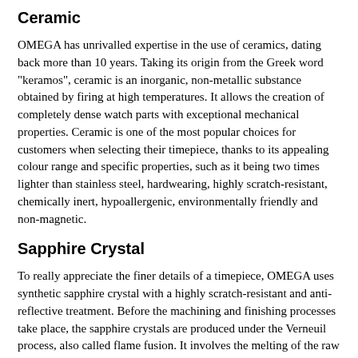Ceramic
OMEGA has unrivalled expertise in the use of ceramics, dating back more than 10 years. Taking its origin from the Greek word "keramos", ceramic is an inorganic, non-metallic substance obtained by firing at high temperatures. It allows the creation of completely dense watch parts with exceptional mechanical properties. Ceramic is one of the most popular choices for customers when selecting their timepiece, thanks to its appealing colour range and specific properties, such as it being two times lighter than stainless steel, hardwearing, highly scratch-resistant, chemically inert, hypoallergenic, environmentally friendly and non-magnetic.
Sapphire Crystal
To really appreciate the finer details of a timepiece, OMEGA uses synthetic sapphire crystal with a highly scratch-resistant and anti-reflective treatment. Before the machining and finishing processes take place, the sapphire crystals are produced under the Verneuil process, also called flame fusion. It involves the melting of the raw substance using oxyhydrogen flame and the crystallisation of the melted droplets to form a cylinder. Graded 9 on the Mohs-hardness scale (graded 1-10), the resulting sapphire crystals are virtually scratch-proof and very hard, ensuring an unhindered vision at all